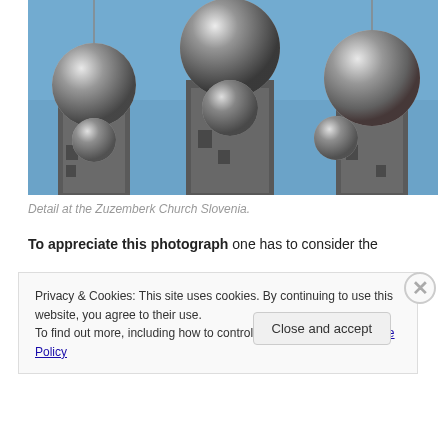[Figure (photo): Close-up photo of stone pillars topped with large chrome/silver reflective spherical balls against a blue sky, showing a detail of the Zuzemberk Church in Slovenia.]
Detail at the Zuzemberk Church Slovenia.
To appreciate this photograph one has to consider the
Privacy & Cookies: This site uses cookies. By continuing to use this website, you agree to their use.
To find out more, including how to control cookies, see here: Cookie Policy